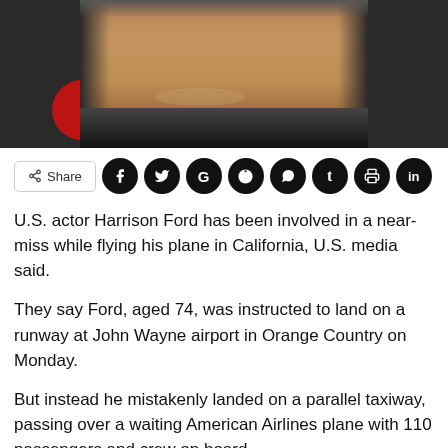[Figure (photo): Close-up photo of an older man, presumably Harrison Ford, smiling, wearing a dark jacket, against a dark background with a red circular element visible on the left side.]
Share (with social sharing icons: Facebook, Twitter, Google, Reddit, WhatsApp, Tumblr, Print, LinkedIn)
U.S. actor Harrison Ford has been involved in a near-miss while flying his plane in California, U.S. media said.
They say Ford, aged 74, was instructed to land on a runway at John Wayne airport in Orange Country on Monday.
But instead he mistakenly landed on a parallel taxiway, passing over a waiting American Airlines plane with 110 passengers and crew on board.